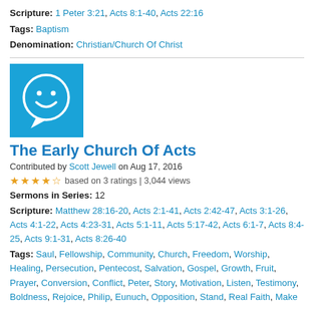Scripture: 1 Peter 3:21, Acts 8:1-40, Acts 22:16
Tags: Baptism
Denomination: Christian/Church Of Christ
[Figure (illustration): Blue square icon with a white smiley face inside a speech bubble]
The Early Church Of Acts
Contributed by Scott Jewell on Aug 17, 2016
★★★★½ based on 3 ratings | 3,044 views
Sermons in Series: 12
Scripture: Matthew 28:16-20, Acts 2:1-41, Acts 2:42-47, Acts 3:1-26, Acts 4:1-22, Acts 4:23-31, Acts 5:1-11, Acts 5:17-42, Acts 6:1-7, Acts 8:4-25, Acts 9:1-31, Acts 8:26-40
Tags: Saul, Fellowship, Community, Church, Freedom, Worship, Healing, Persecution, Pentecost, Salvation, Gospel, Growth, Fruit, Prayer, Conversion, Conflict, Peter, Story, Motivation, Listen, Testimony, Boldness, Rejoice, Philip, Eunuch, Opposition, Stand, Real Faith, Make